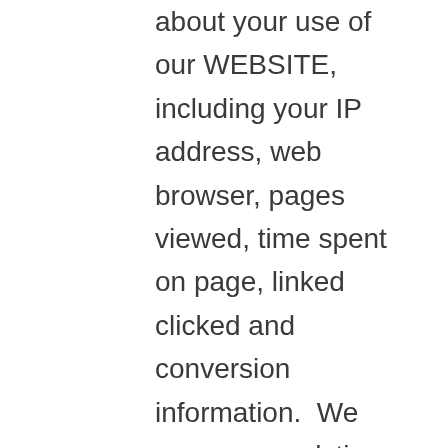about your use of our WEBSITE, including your IP address, web browser, pages viewed, time spent on page, linked clicked and conversion information.  We may use analytic partners to help us analyze and track data, determine the popularity of certain content, deliver advertising and content targeted to your interests on the WEBSITE, evaluate your use of the website, compile reports on website activity, and better understand your online activity.  This information may be transmitted and stored by the analytic partner on servers that we do not control.  The analytic partner may also transfer information to third parties when required to do so by law, or when such third parties process the information on the